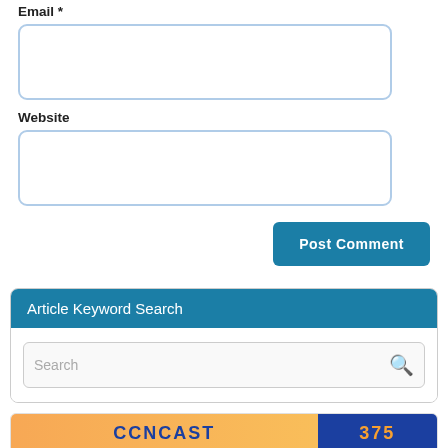Email *
[Figure (screenshot): Empty email text input field with rounded border]
Website
[Figure (screenshot): Empty website text input field with rounded border]
[Figure (screenshot): Post Comment button, teal/blue background, white bold text]
Article Keyword Search
[Figure (screenshot): Search input box with placeholder text 'Search' and magnifying glass icon]
[Figure (screenshot): Partial banner image at bottom, orange and blue colors, partial text visible]